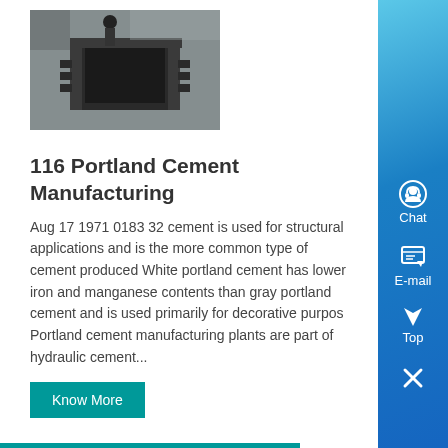[Figure (photo): Construction site photo showing a cement/concrete structure or mold with metal reinforcement, viewed from above, with a person visible in background]
116 Portland Cement Manufacturing
Aug 17 1971 0183 32 cement is used for structural applications and is the more common type of cement produced White portland cement has lower iron and manganese contents than gray portland cement and is used primarily for decorative purpos Portland cement manufacturing plants are part of hydraulic cement...
Know More